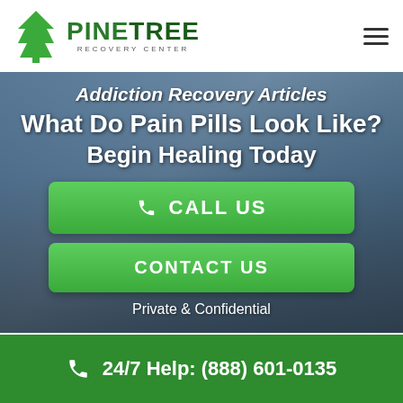PINETREE RECOVERY CENTER
Addiction Recovery Articles What Do Pain Pills Look Like? Begin Healing Today
CALL US
CONTACT US
Private & Confidential
24/7 Help: (888) 601-0135